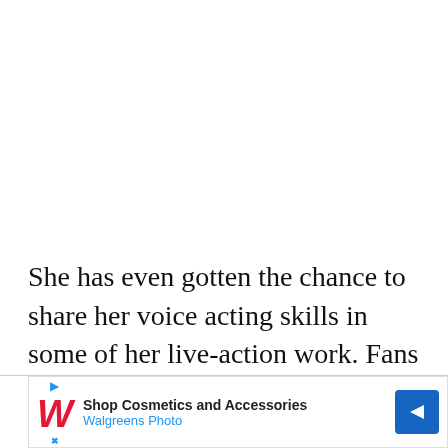She has even gotten the chance to share her voice acting skills in some of her live-action work. Fans of The Big Bang Theory will remember how her character, Bernadette, had a very unique voice.
What many people don't realize, though, is that Bernadette's voice was actually inspired by someo... with the vo...
[Figure (other): Walgreens advertisement banner: Play button, Walgreens cursive W logo, text 'Shop Cosmetics and Accessories / Walgreens Photo', blue arrow navigation icon, X close button]